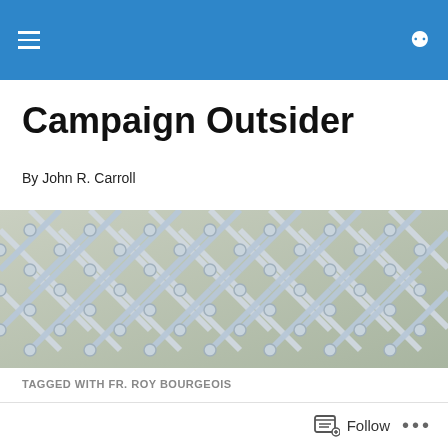Campaign Outsider
By John R. Carroll
[Figure (photo): Close-up photograph of a chain-link metal fence, showing interlocking silver wire links against a light background.]
TAGGED WITH FR. ROY BOURGEOIS
Dr. Ads: Why Fr. Roy Bourgeois Ran That Boston Globe Ad